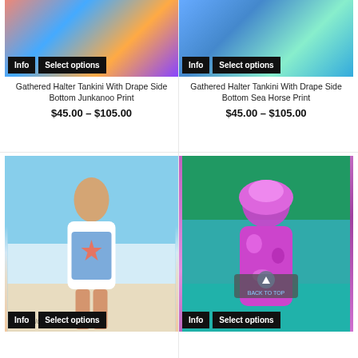[Figure (photo): Product photo of Gathered Halter Tankini with colorful Junkanoo print, top portion visible with Info and Select options buttons]
Gathered Halter Tankini With Drape Side Bottom Junkanoo Print
$45.00 – $105.00
[Figure (photo): Product photo of Gathered Halter Tankini with Sea Horse print in blue and teal tones, top portion visible with Info and Select options buttons]
Gathered Halter Tankini With Drape Side Bottom Sea Horse Print
$45.00 – $105.00
[Figure (photo): Model wearing a colorful one-piece swimsuit with star/floral print at the beach, with Info and Select options buttons at bottom]
[Figure (photo): Back view of a person wearing a hot pink patterned swimsuit cover-up near a pool, with Back to Top button overlay and Info and Select options buttons]